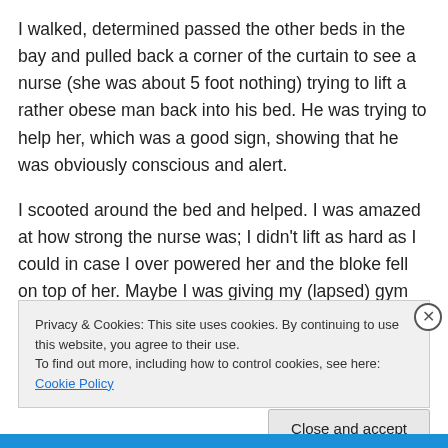I walked, determined passed the other beds in the bay and pulled back a corner of the curtain to see a nurse (she was about 5 foot nothing) trying to lift a rather obese man back into his bed. He was trying to help her, which was a good sign, showing that he was obviously conscious and alert.
I scooted around the bed and helped. I was amazed at how strong the nurse was; I didn't lift as hard as I could in case I over powered her and the bloke fell on top of her. Maybe I was giving my (lapsed) gym routine a little too much credit as she nearly over-powered me.
Privacy & Cookies: This site uses cookies. By continuing to use this website, you agree to their use.
To find out more, including how to control cookies, see here: Cookie Policy
Close and accept